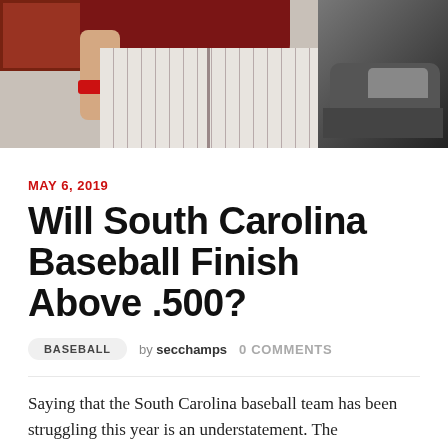[Figure (photo): Photo of a baseball player in pinstripe pants and dark red jersey walking, with a car visible on the right side. The image is cropped to show only the torso/legs area.]
MAY 6, 2019
Will South Carolina Baseball Finish Above .500?
BASEBALL   by secchamps   0 COMMENTS
Saying that the South Carolina baseball team has been struggling this year is an understatement. The Gamecocks have yet to [...]